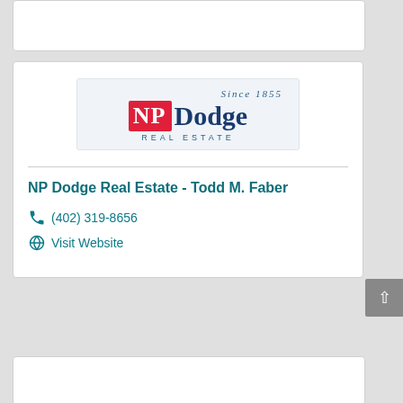[Figure (logo): NP Dodge Real Estate logo with 'Since 1855' tagline, red NP block and blue Dodge text]
NP Dodge Real Estate - Todd M. Faber
(402) 319-8656
Visit Website